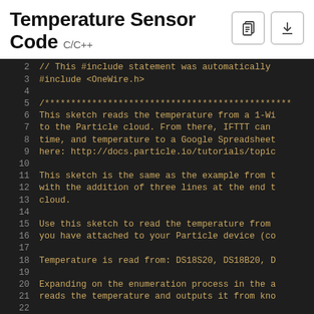Temperature Sensor Code C/C++
[Figure (screenshot): Code editor buttons: clipboard and download icons]
// This #include statement was automatically
#include <OneWire.h>

/***********************************************
This sketch reads the temperature from a 1-Wi
to the Particle cloud. From there, IFTTT can
time, and temperature to a Google Spreadsheet
here: http://docs.particle.io/tutorials/topic

This sketch is the same as the example from t
with the addition of three lines at the end t
cloud.

Use this sketch to read the temperature from
you have attached to your Particle device (co

Temperature is read from: DS18S20, DS18B20, D

Expanding on the enumeration process in the a
reads the temperature and outputs it from kno

I/O setup: